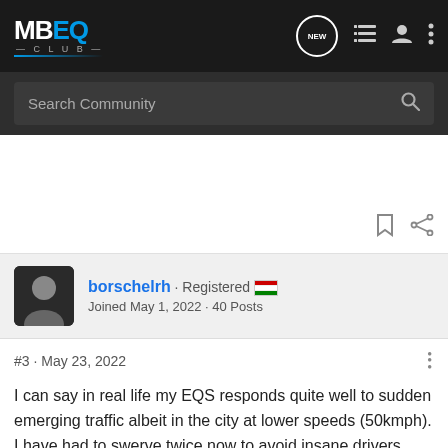[Figure (screenshot): MBEQ Club forum website navigation bar with logo, NEW chat bubble icon, list icon, user icon, and three-dot menu]
[Figure (screenshot): Search Community search bar with magnifying glass icon on dark background]
#3 · May 23, 2022
borschelrh · Registered 🇭🇺
Joined May 1, 2022 · 40 Posts
I can say in real life my EQS responds quite well to sudden emerging traffic albeit in the city at lower speeds (50kmph). I have had to swerve twice now to avoid insane drivers pulling